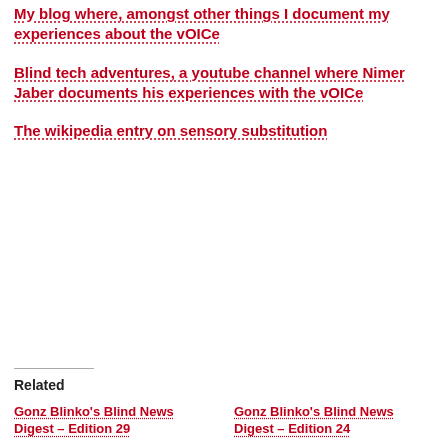My blog where, amongst other things I document my experiences about the vOICe
Blind tech adventures, a youtube channel where Nimer Jaber documents his experiences with the vOICe
The wikipedia entry on sensory substitution
Related
Gonz Blinko’s Blind News Digest – Edition 29
Gonz Blinko’s Blind News Digest – Edition 24